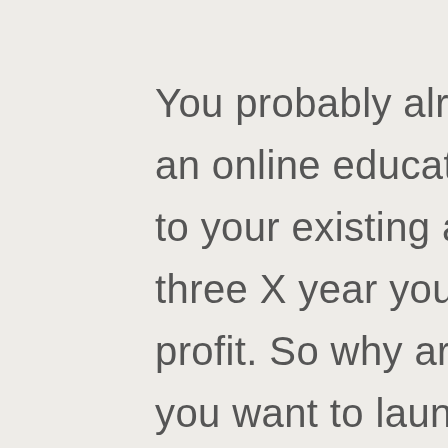You probably already know that adding an online education or a coaching arm to your existing agency would two to three X year your revenue and even profit. So why aren't you doing it yet? If you want to launch your first group coaching program that compliments your existing agency services and get your next five to 10 clients in the next 90 days, then visit system dot L Y forward slash foundations to learn a little bit